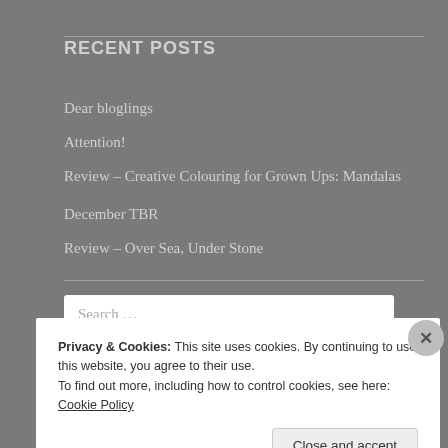RECENT POSTS
Dear bloglings
Attention!
Review – Creative Colouring for Grown Ups: Mandalas
December TBR
Review – Over Sea, Under Stone
Search ...
ARCHIVES
Privacy & Cookies: This site uses cookies. By continuing to use this website, you agree to their use.
To find out more, including how to control cookies, see here: Cookie Policy
Close and accept